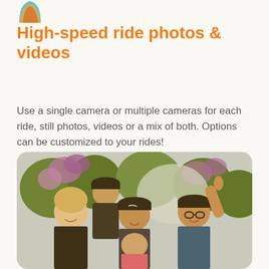[Figure (logo): Partial view of a colorful circular logo in the top left corner]
High-speed ride photos & videos
Use a single camera or multiple cameras for each ride, still photos, videos or a mix of both. Options can be customized to your rides!
[Figure (photo): Group of five smiling people posing together outdoors at an amusement park or event, with purple flowers and trees in the background. The group includes a blonde woman in front, a man with a black cap in the middle, and others around them.]